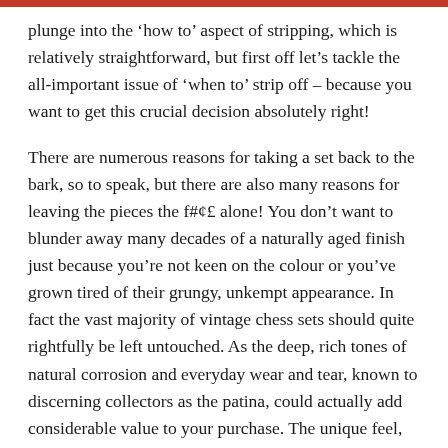plunge into the 'how to' aspect of stripping, which is relatively straightforward, but first off let's tackle the all-important issue of 'when to' strip off – because you want to get this crucial decision absolutely right!
There are numerous reasons for taking a set back to the bark, so to speak, but there are also many reasons for leaving the pieces the f#¢£ alone! You don't want to blunder away many decades of a naturally aged finish just because you're not keen on the colour or you've grown tired of their grungy, unkempt appearance. In fact the vast majority of vintage chess sets should quite rightfully be left untouched. As the deep, rich tones of natural corrosion and everyday wear and tear, known to discerning collectors as the patina, could actually add considerable value to your purchase. The unique feel, smell and viscosity of these various patinas will be the subject of a future Chessay, but for now let's cut to the quick with a few examples of what I personally consider (and